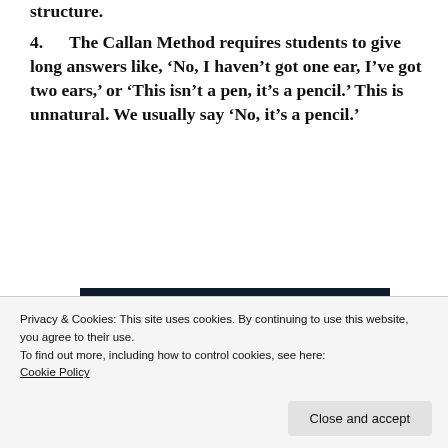structure.
4.      The Callan Method requires students to give long answers like, ‘No, I haven’t got one ear, I’ve got two ears,’ or ‘This isn’t a pen, it’s a pencil.’ This is unnatural. We usually say ‘No, it’s a pencil.’
[Figure (illustration): Dark navy background banner with bold white underlined text reading 'we all have them!' with a pink bar and grey circle at the bottom.]
Privacy & Cookies: This site uses cookies. By continuing to use this website, you agree to their use.
To find out more, including how to control cookies, see here:
Cookie Policy